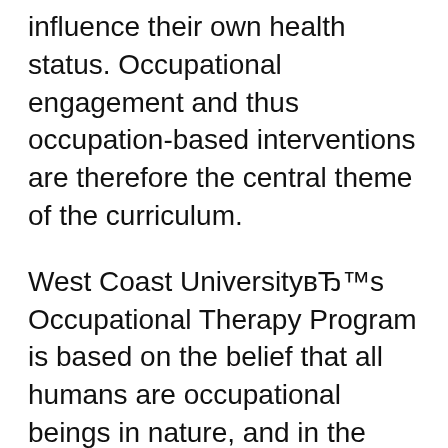influence their own health status. Occupational engagement and thus occupation-based interventions are therefore the central theme of the curriculum.
West Coast University’s Occupational Therapy Program is based on the belief that all humans are occupational beings in nature, and in the healing power of occupation whereby humans can influence their own health status. Occupational engagement and thus occupation-based interventions are therefore the central theme of the curriculum. 9,397 Followers, 856 Following, 1,160 Posts - See Instagram photos and videos from